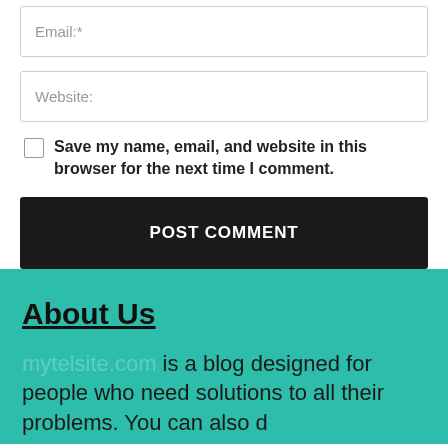[Figure (screenshot): Email input field with placeholder text 'Email:*']
[Figure (screenshot): Website input field with placeholder text 'Website:']
Save my name, email, and website in this browser for the next time I comment.
[Figure (screenshot): POST COMMENT button in dark/black background with white uppercase text]
About Us
mytelsite.com is a blog designed for people who need solutions to all their problems. You can also d...